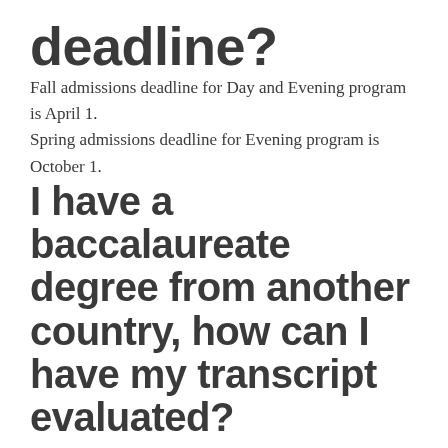deadline?
Fall admissions deadline for Day and Evening program is April 1.
Spring admissions deadline for Evening program is October 1.
I have a baccalaureate degree from another country, how can I have my transcript evaluated?